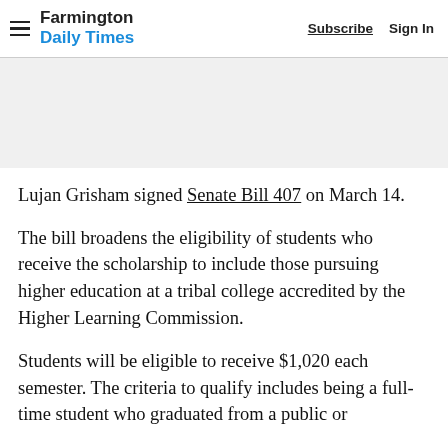Farmington Daily Times — Subscribe  Sign In
Lujan Grisham signed Senate Bill 407 on March 14.
The bill broadens the eligibility of students who receive the scholarship to include those pursuing higher education at a tribal college accredited by the Higher Learning Commission.
Students will be eligible to receive $1,020 each semester. The criteria to qualify includes being a full-time student who graduated from a public or